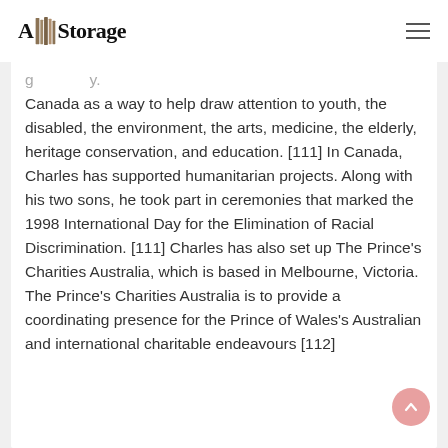A1 Storage
Canada as a way to help draw attention to youth, the disabled, the environment, the arts, medicine, the elderly, heritage conservation, and education. [111] In Canada, Charles has supported humanitarian projects. Along with his two sons, he took part in ceremonies that marked the 1998 International Day for the Elimination of Racial Discrimination. [111] Charles has also set up The Prince's Charities Australia, which is based in Melbourne, Victoria. The Prince's Charities Australia is to provide a coordinating presence for the Prince of Wales's Australian and international charitable endeavours [112]